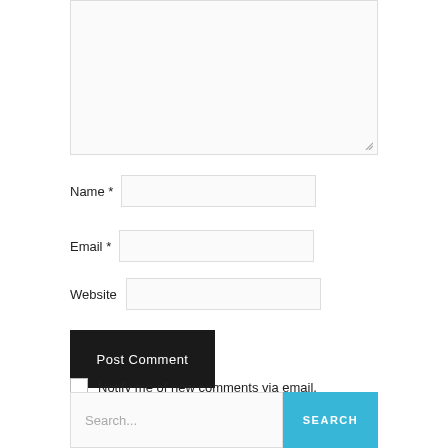[Figure (screenshot): Comment form textarea (empty, resizable) with border]
Name *
[Figure (screenshot): Name text input field]
Email *
[Figure (screenshot): Email text input field]
Website
[Figure (screenshot): Website text input field]
[Figure (screenshot): Post Comment button, dark background, white text]
Notify me of new comments via email.
Notify me of new posts via email.
[Figure (screenshot): Search bar with placeholder 'Search...' and blue SEARCH button]